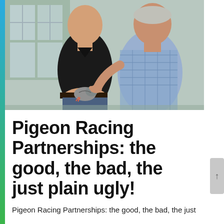[Figure (photo): Two men posing together outdoors or near a building with windows. The man on the left wears a black t-shirt and holds a pigeon in cupped hands. The older man on the right wears a blue plaid shirt and points at the pigeon.]
Pigeon Racing Partnerships: the good, the bad, the just plain ugly!
Pigeon Racing Partnerships: the good, the bad, the just